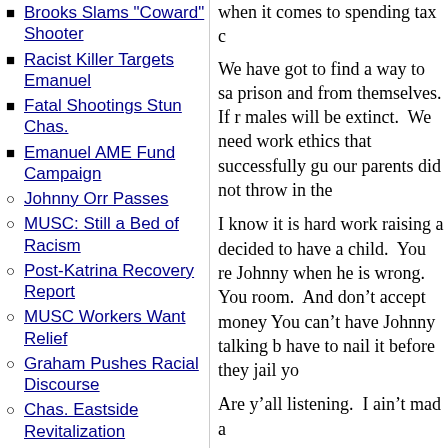Brooks Slams "Coward" Shooter
Racist Killer Targets Emanuel
Fatal Shootings Stun Chas.
Emanuel AME Fund Campaign
Johnny Orr Passes
MUSC: Still a Bed of Racism
Post-Katrina Recovery Report
MUSC Workers Want Relief
Graham Pushes Racial Discourse
Chas. Eastside Revitalization
Heyward Medical Bills Piling
Gun Sculpture Raises Eyebrows
when it comes to spending tax c
We have got to find a way to sa prison and from themselves. If r males will be extinct. We need work ethics that successfully gu our parents did not throw in the
I know it is hard work raising a decided to have a child. You re Johnny when he is wrong. You room. And don't accept money You can't have Johnny talking b have to nail it before they jail yo
Are y'all listening. I ain't mad a
Visitor Comments